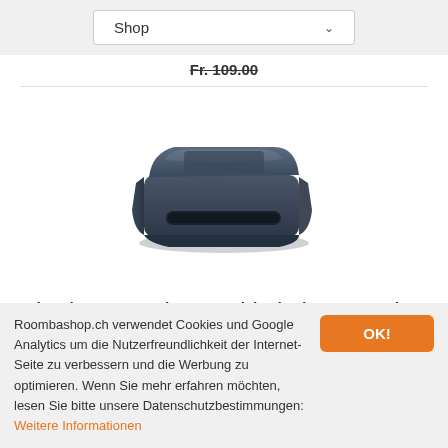Shop
Fr. 109.00
[Figure (photo): iRobot Roomba dust bin/container for S-Series, dark navy blue rectangular unit with curved edges and a slot on the front]
iRobot Roomba Staubbehälter S-Serie
Fr. 99.00
Roombashop.ch verwendet Cookies und Google Analytics um die Nutzerfreundlichkeit der Internet-Seite zu verbessern und die Werbung zu optimieren. Wenn Sie mehr erfahren möchten, lesen Sie bitte unsere Datenschutzbestimmungen: Weitere Informationen